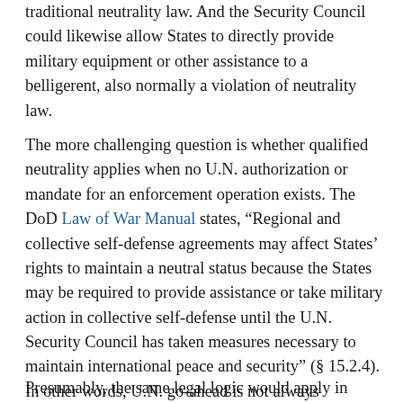traditional neutrality law. And the Security Council could likewise allow States to directly provide military equipment or other assistance to a belligerent, also normally a violation of neutrality law.
The more challenging question is whether qualified neutrality applies when no U.N. authorization or mandate for an enforcement operation exists. The DoD Law of War Manual states, “Regional and collective self-defense agreements may affect States’ rights to maintain a neutral status because the States may be required to provide assistance or take military action in collective self-defense until the U.N. Security Council has taken measures necessary to maintain international peace and security” (§ 15.2.4). In other words, U.N. go-ahead is not always necessary to provide a State assistance consistent with qualified neutrality.
Presumably, the same legal logic would apply in bilateral